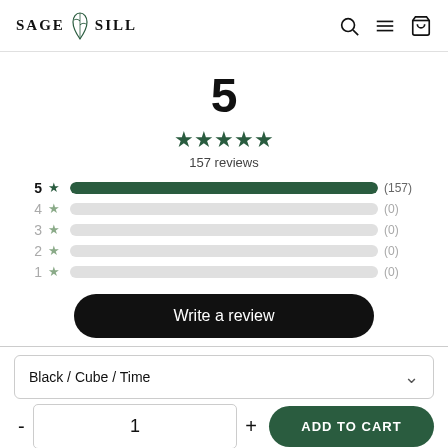SAGE SILL
5
157 reviews
[Figure (bar-chart): Rating distribution]
Write a review
Black / Cube / Time
1
ADD TO CART